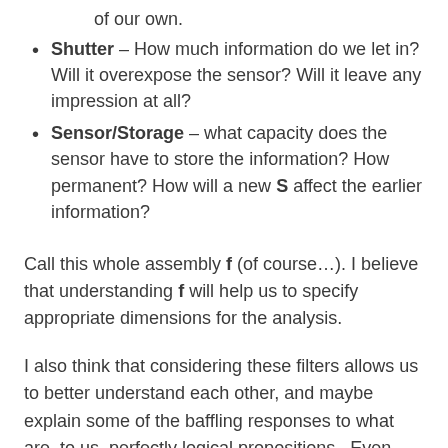Shutter – How much information do we let in? Will it overexpose the sensor? Will it leave any impression at all?
Sensor/Storage – what capacity does the sensor have to store the information? How permanent? How will a new S affect the earlier information?
Call this whole assembly f (of course…). I believe that understanding f will help us to specify appropriate dimensions for the analysis.
I also think that considering these filters allows us to better understand each other, and maybe explain some of the baffling responses to what are, to us, perfectly logical propositions.  Even within the same society, in the same street, the filters may be